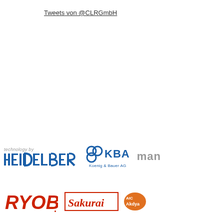Tweets von @CLRGmbH
[Figure (logo): Technology by Heidelberg logo in blue]
[Figure (logo): KBA Koenig & Bauer AG logo in blue]
[Figure (logo): man logo in grey (partially visible)]
[Figure (logo): RYOBI logo in red italic]
[Figure (logo): Sakurai logo in red italic with border]
[Figure (logo): AIC Akdya logo in orange circle (partially visible)]